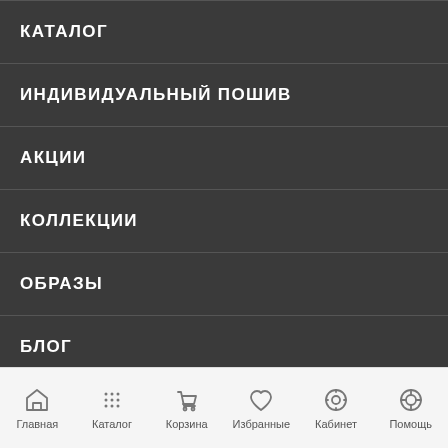КАТАЛОГ
ИНДИВИДУАЛЬНЫЙ ПОШИВ
АКЦИИ
КОЛЛЕКЦИИ
ОБРАЗЫ
БЛОГ
ALTRANATURA
Главная  Каталог  Корзина  Избранные  Кабинет  Помощь